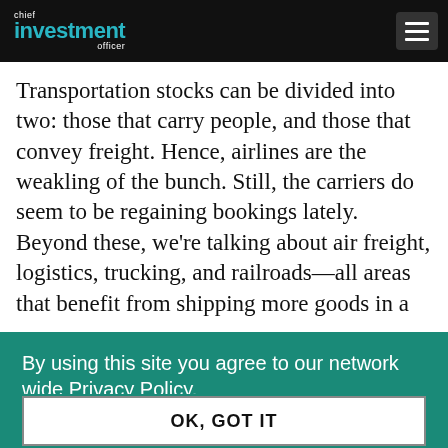chief investment officer
Transportation stocks can be divided into two: those that carry people, and those that convey freight. Hence, airlines are the weakling of the bunch. Still, the carriers do seem to be regaining bookings lately. Beyond these, we're talking about air freight, logistics, trucking, and railroads—all areas that benefit from shipping more goods in a
By using this site you agree to our network wide Privacy Policy.
OK, GOT IT